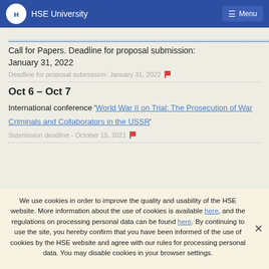HSE University  Menu
[link truncated — call for papers link]
Call for Papers. Deadline for proposal submission: January 31, 2022
Deadline for proposal submission: January 31, 2022 🚩
Oct 6 – Oct 7
International conference 'World War II on Trial: The Prosecution of War Criminals and Collaborators in the USSR'
Submission deadline - October 15, 2021 🚩
We use cookies in order to improve the quality and usability of the HSE website. More information about the use of cookies is available here, and the regulations on processing personal data can be found here. By continuing to use the site, you hereby confirm that you have been informed of the use of cookies by the HSE website and agree with our rules for processing personal data. You may disable cookies in your browser settings.